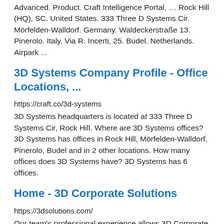Advanced. Product. Craft Intelligence Portal, … Rock Hill (HQ), SC. United States. 333 Three D Systems Cir. Mörfelden-Walldorf. Germany. Waldeckerstraße 13. Pinerolo. Italy. Via R. Incerti, 25. Budel. Netherlands. Airpark ...
3D Systems Company Profile - Office Locations, ...
https://craft.co/3d-systems
3D Systems headquarters is located at 333 Three D Systems Cir, Rock Hill. Where are 3D Systems offices? 3D Systems has offices in Rock Hill, Mörfelden-Walldorf, Pinerolo, Budel and in 2 other locations. How many offices does 3D Systems have? 3D Systems has 6 offices.
Home - 3D Corporate Solutions
https://3dsolutions.com/
Our team's professional experience allows 3D Corporate Solutions to create, produce, and manage all aspects of